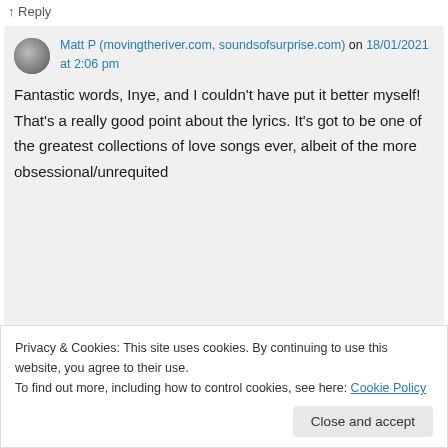↑ Reply
Matt P (movingtheriver.com, soundsofsurprise.com) on 18/01/2021 at 2:06 pm
Fantastic words, Inye, and I couldn't have put it better myself! That's a really good point about the lyrics. It's got to be one of the greatest collections of love songs ever, albeit of the more obsessional/unrequited
Privacy & Cookies: This site uses cookies. By continuing to use this website, you agree to their use.
To find out more, including how to control cookies, see here: Cookie Policy
Close and accept